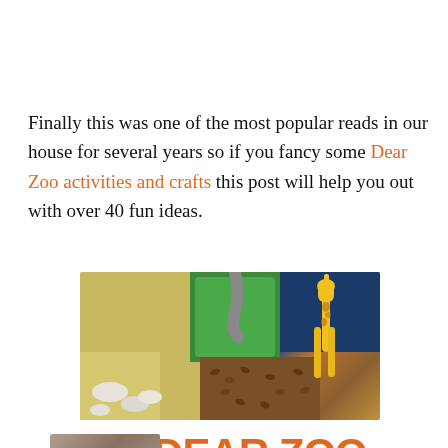Finally this was one of the most popular reads in our house for several years so if you fancy some Dear Zoo activities and crafts this post will help you out with over 40 fun ideas.
[Figure (photo): A sensory/craft activity tray with various textures (sand, green slime/jelly, brown beans/pebbles, white stones) and a yellow plastic giraffe toy. Below the photo is a banner reading '40 DEAR ZOO ACTIVITIES AND CRAFTS' with '40' in yellow and 'DEAR ZOO' in orange bold text, and 'ACTIVITIES AND CRAFTS' in lighter orange below.]